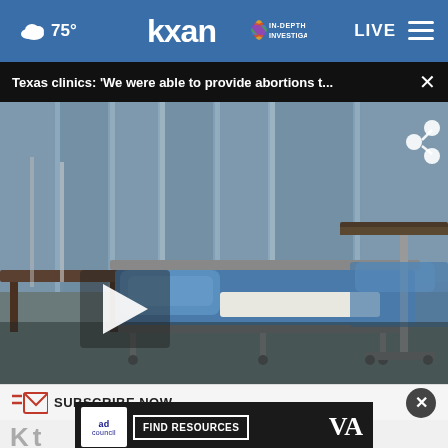75° kxan IN-DEPTH INVESTIGATIVE LIVE
Texas clinics: 'We were able to provide abortions t... ×
[Figure (photo): Hospital examination room with blue medical bed/gurney with pillow, overbed table, curtains in background; video player with play button overlay]
≡✉ SUBSCRIBE NOW ×
K... t Newsletter
[Figure (infographic): Ad Council advertisement overlay: 'ad council | FIND RESOURCES | VA']